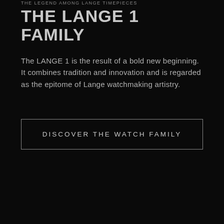THE LEGEND AMONG LANGE TIMEPIECES
THE LANGE 1 FAMILY
The LANGE 1 is the result of a bold new beginning. It combines tradition and innovation and is regarded as the epitome of Lange watchmaking artistry.
DISCOVER THE WATCH FAMILY